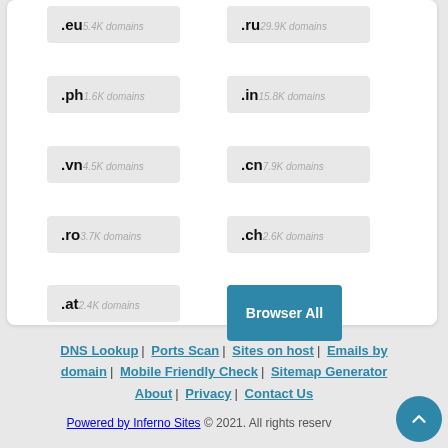.eu 5.4K domains
.ru 29.9K domains
.ph 1.6K domains
.in 15.8K domains
.vn 4.5K domains
.cn 7.9K domains
.ro 3.7K domains
.ch 2.6K domains
.at 2.4K domains
Browser All
DNS Lookup | Ports Scan | Sites on host | Emails by domain | Mobile Friendly Check | Sitemap Generator About | Privacy | Contact Us
Powered by Inferno Sites © 2021. All rights reserved